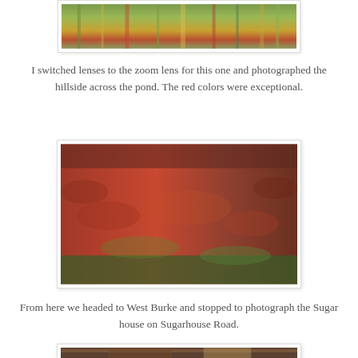[Figure (photo): Top portion of a photo showing reflections of autumn foliage in a pond — blurred green, yellow, and red colors visible at top of page]
I switched lenses to the zoom lens for this one and photographed the hillside across the pond. The red colors were exceptional.
[Figure (photo): A hillside covered in brilliant autumn foliage — dense reds, oranges, and some green trees across a sweeping forest slope viewed across a pond]
From here we headed to West Burke and stopped to photograph the Sugar house on Sugarhouse Road.
[Figure (photo): Bottom of page showing the top edge of another photograph, partially cropped]